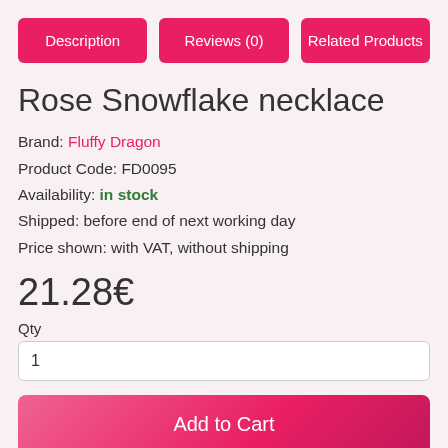Description
Reviews (0)
Related Products
Rose Snowflake necklace
Brand: Fluffy Dragon
Product Code: FD0095
Availability: in stock
Shipped: before end of next working day
Price shown: with VAT, without shipping
21.28€
Qty
1
Add to Cart